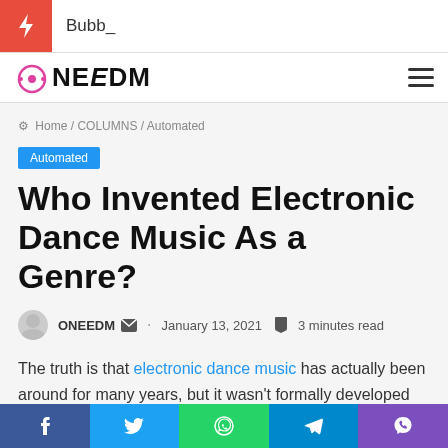Bubb_
[Figure (logo): ONEEDM website logo with circular headphone icon in pink/magenta and hamburger menu icon]
Home / COLUMNS / Automated
Automated
Who Invented Electronic Dance Music As a Genre?
ONEEDM  ·  January 13, 2021  🔖 3 minutes read
The truth is that electronic dance music has actually been around for many years, but it wasn't formally developed as a definite genre until the late seventies. In fact, people have come across all kinds of dancing music, such as
f  t  whatsapp  telegram  viber